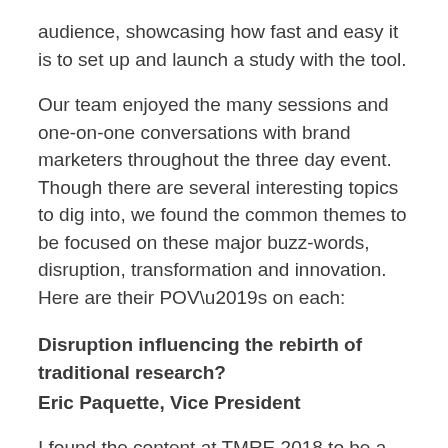audience, showcasing how fast and easy it is to set up and launch a study with the tool.
Our team enjoyed the many sessions and one-on-one conversations with brand marketers throughout the three day event. Though there are several interesting topics to dig into, we found the common themes to be focused on these major buzz-words, disruption, transformation and innovation. Here are their POV’s on each:
Disruption influencing the rebirth of traditional research?
Eric Paquette, Vice President
I found the content at TMRE 2018 to be a real hodgepodge of topics that is indicative of the disruption